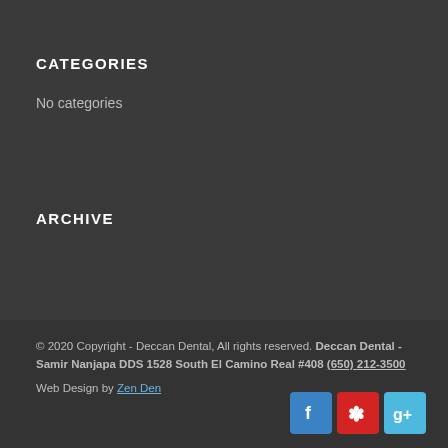CATEGORIES
No categories
ARCHIVE
© 2020 Copyright - Deccan Dental, All rights reserved. Deccan Dental - Samir Nanjapa DDS 1528 South El Camino Real #408 (650) 212-3500
Web Design by Zen Den